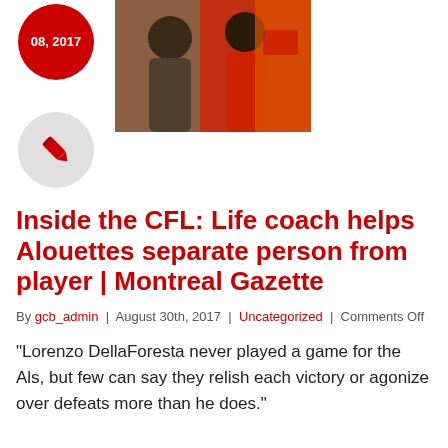[Figure (photo): Red circular badge with date '08, 2017' in white text]
[Figure (photo): Photo of football players/coaches, one in grey shirt and one in red shirt]
[Figure (illustration): Light grey circle with red pen/pencil icon]
Inside the CFL: Life coach helps Alouettes separate person from player | Montreal Gazette
By gcb_admin | August 30th, 2017 | Uncategorized | Comments Off
"Lorenzo DellaForesta never played a game for the Als, but few can say they relish each victory or agonize over defeats more than he does."